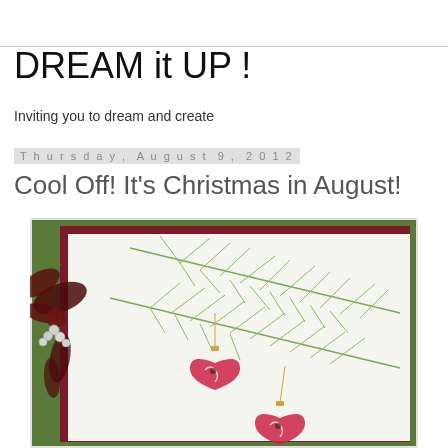DREAM it UP !
Inviting you to dream and create
Thursday, August 9, 2012
Cool Off! It's Christmas in August!
[Figure (photo): A handmade Christmas card with green card stock background, dark red layered mat, white center panel featuring stamped pine branches with green coloring, two pink ornament heart shapes hanging on strings with gold caps, and a decorative dark red glitter bow tied with pearl beads on the left side.]